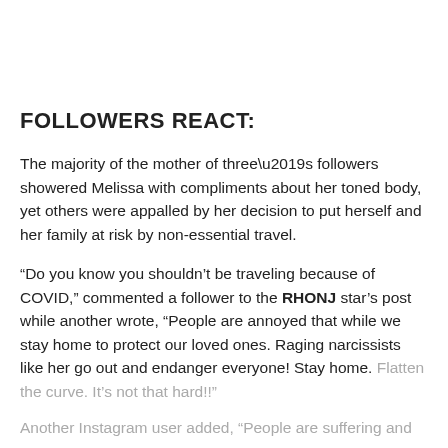FOLLOWERS REACT:
The majority of the mother of three’s followers showered Melissa with compliments about her toned body, yet others were appalled by her decision to put herself and her family at risk by non-essential travel.
“Do you know you shouldn’t be traveling because of COVID,” commented a follower to the RHONJ star’s post while another wrote, “People are annoyed that while we stay home to protect our loved ones. Raging narcissists like her go out and endanger everyone! Stay home. Flatten the curve. It’s not that hard!!!”
Another Instagram user added, “People are suffering and